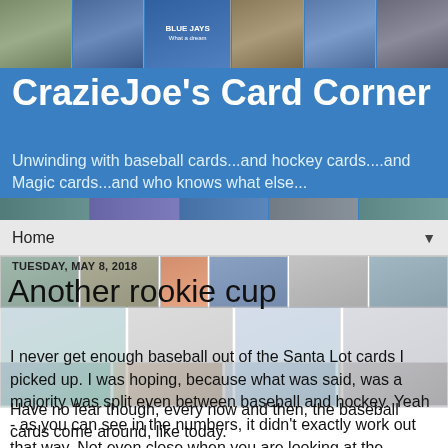[Figure (screenshot): Blog header banner with sports cards collage background in blue]
CrazieJoe's Card Corner
Unwinding with baseball cards...and hockey cards....and Magic cards...and who knows what else...
Home
[Figure (photo): Strip of sports cards images near top of content area]
TUESDAY, MAY 8, 2018
Another rookie cup
I never get enough baseball out of the Santa Lot cards I picked up. I was hoping, because what was said, was a majority was split even between baseball and hockey. Yeah - as you can see in the numbers, it didn't exactly work out that way. Not even close when you are looking at the baseball.
Have no fear though, every now and then, the baseball cards come around, like today.